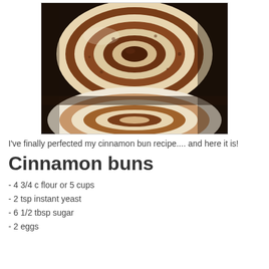[Figure (photo): Close-up photograph of cinnamon buns showing swirled dough with cinnamon sugar filling, two buns visible]
I've finally perfected my cinnamon bun recipe.... and here it is!
Cinnamon buns
- 4 3/4 c flour or 5 cups
- 2 tsp instant yeast
- 6 1/2 tbsp sugar
- 2 eggs